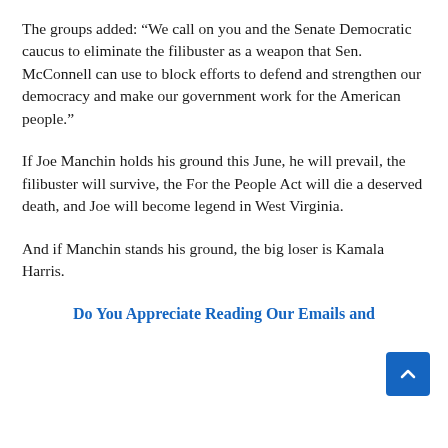The groups added: “We call on you and the Senate Democratic caucus to eliminate the filibuster as a weapon that Sen. McConnell can use to block efforts to defend and strengthen our democracy and make our government work for the American people.”
If Joe Manchin holds his ground this June, he will prevail, the filibuster will survive, the For the People Act will die a deserved death, and Joe will become legend in West Virginia.
And if Manchin stands his ground, the big loser is Kamala Harris.
Do You Appreciate Reading Our Emails and